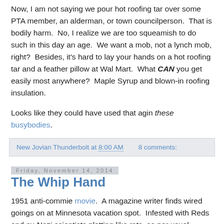Now, I am not saying we pour hot roofing tar over some PTA member, an alderman, or town councilperson.  That is bodily harm.  No, I realize we are too squeamish to do such in this day an age.  We want a mob, not a lynch mob, right?  Besides, it's hard to lay your hands on a hot roofing tar and a feather pillow at Wal Mart.  What CAN you get easily most anywhere?  Maple Syrup and blown-in roofing insulation.
Looks like they could have used that agin these busybodies.
New Jovian Thunderbolt at 8:00 AM    8 comments:
Friday, November 14, 2014
The Whip Hand
1951 anti-commie movie.  A magazine writer finds wired goings on at Minnesota vacation spot.  Infested with Reds and ex-Nazi scientists plotting like rats, as per usual.  Germ warfare.
The Sovs inst Sovs have a divert their fri d Si